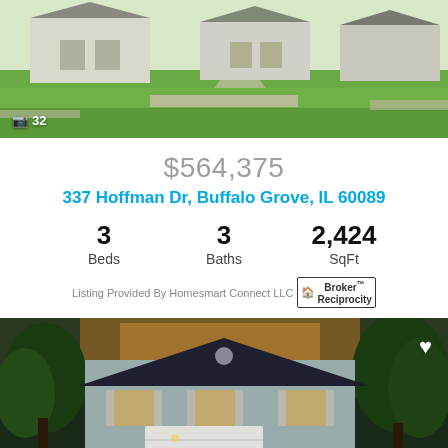[Figure (photo): Aerial or street view of suburban homes with green lawns, photo counter showing 32 images]
$564,375
337 Hoffman Dr, Buffalo Grove, IL 60089
3 Beds  3 Baths  2,424 SqFt
Listing Provided By Homesmart Connect LLC  Broker Reciprocity
[Figure (photo): Two-story suburban home with gray siding, dark roof, white garage door, brick lower facade, evening/dusk lighting, photo counter showing 47 images]